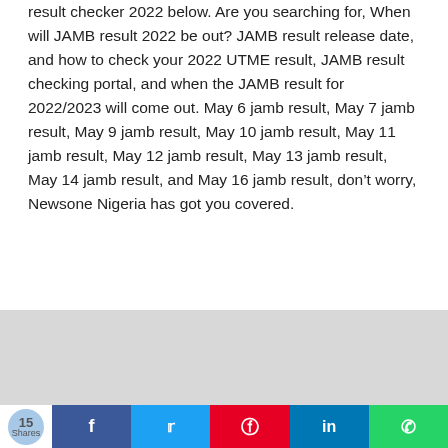result checker 2022 below. Are you searching for, When will JAMB result 2022 be out? JAMB result release date, and how to check your 2022 UTME result, JAMB result checking portal, and when the JAMB result for 2022/2023 will come out. May 6 jamb result, May 7 jamb result, May 9 jamb result, May 10 jamb result, May 11 jamb result, May 12 jamb result, May 13 jamb result, May 14 jamb result, and May 16 jamb result, don't worry, Newsone Nigeria has got you covered.
[Figure (other): Gray advertisement placeholder area]
[Figure (infographic): Social share bar with 15 Shares count circle and buttons for Facebook, Twitter, Pinterest, LinkedIn, WhatsApp]